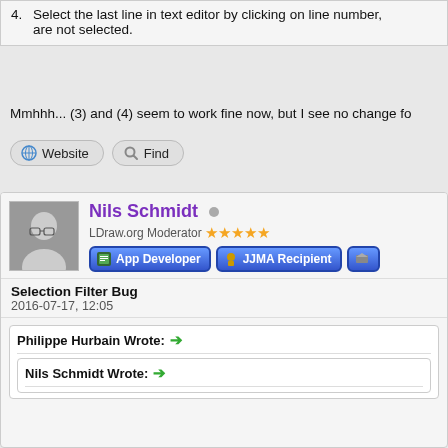4. Select the last line in text editor by clicking on line number, are not selected.
Mmhhh... (3) and (4) seem to work fine now, but I see no change fo
Website   Find
Nils Schmidt
LDraw.org Moderator ★★★★★
App Developer   JJMA Recipient
Selection Filter Bug
2016-07-17, 12:05
Philippe Hurbain Wrote: →
Nils Schmidt Wrote: →